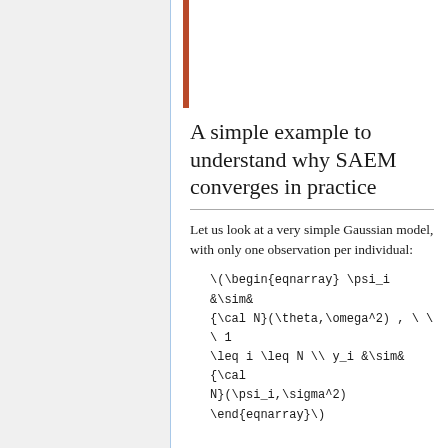A simple example to understand why SAEM converges in practice
Let us look at a very simple Gaussian model, with only one observation per individual: